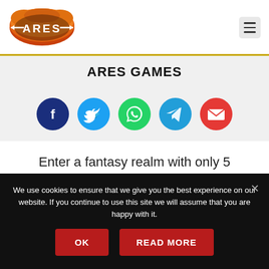[Figure (logo): ARES Games logo: orange/red shield shape with text ARES in white with arrows]
ARES GAMES
[Figure (infographic): Row of five social media circular icons: Facebook (dark blue), Twitter (light blue), WhatsApp (green), Telegram (cyan-blue), Email (red)]
Enter a fantasy realm with only 5
We use cookies to ensure that we give you the best experience on our website. If you continue to use this site we will assume that you are happy with it.
OK
READ MORE